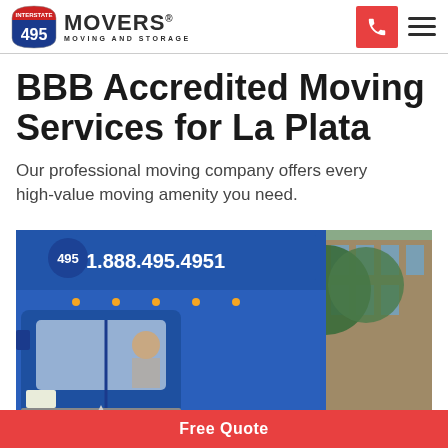[Figure (logo): 495 Movers Moving and Storage logo with interstate highway shield icon]
BBB Accredited Moving Services for La Plata
Our professional moving company offers every high-value moving amenity you need.
[Figure (photo): Blue 495 Movers moving truck with phone number 1.888.495.4951 on the side, parked in front of a building with trees]
Free Quote